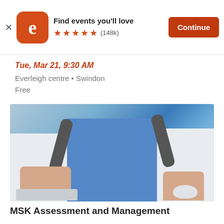[Figure (screenshot): Eventbrite app banner with logo, 'Find events you'll love' title, 5 star rating with (148k) reviews, and Continue button]
Tue, Mar 21, 9:30 AM
Everleigh centre • Swindon
Free
[Figure (photo): Doctor in white coat with stethoscope, sitting at desk using computer keyboard and mouse]
MSK Assessment and Management